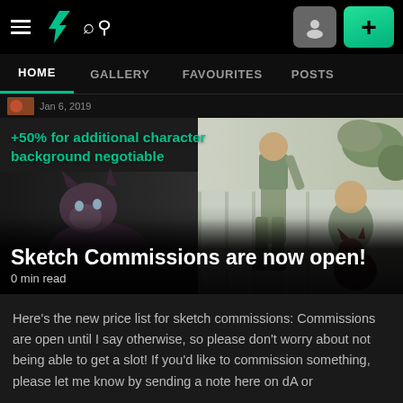DeviantArt top navigation bar with hamburger menu, DA logo, search icon, profile button, and + button
HOME | GALLERY | FAVOURITES | POSTS
[Figure (illustration): Sketch commission artwork showing anthropomorphic cat character in a robe and two human figures in casual clothing sitting/standing near a fence, with text '+50% for additional character background negotiable' overlaid in teal]
Sketch Commissions are now open!
0 min read
Here's the new price list for sketch commissions: Commissions are open until I say otherwise, so please don't worry about not being able to get a slot! If you'd like to commission something, please let me know by sending a note here on dA or